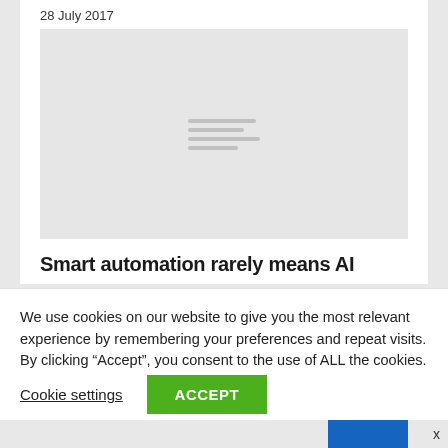28 July 2017
[Figure (photo): Light gray image placeholder with faint horizontal lines in the center, representing a loading or unavailable image thumbnail.]
Smart automation rarely means AI
We use cookies on our website to give you the most relevant experience by remembering your preferences and repeat visits. By clicking “Accept”, you consent to the use of ALL the cookies.
Cookie settings  ACCEPT